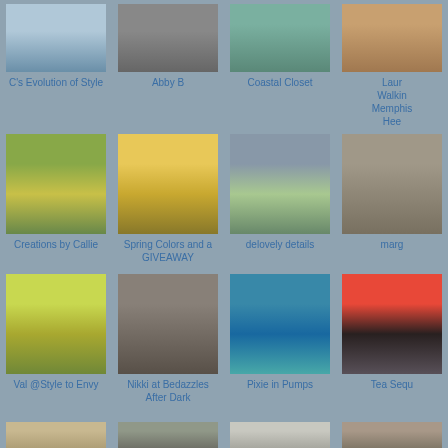[Figure (photo): Fashion blog grid layout with outfit photos and blogger names. Row 1 (partial): C's Evolution of Style, Abby B, Coastal Closet, Laur Walking Memphis Hee. Row 2: Creations by Callie, Spring Colors and a GIVEAWAY, delovely details, marg. Row 3: Val @Style to Envy, Nikki at Bedazzles After Dark, Pixie in Pumps, Tea Sequ. Row 4 (partial): four more blog previews.]